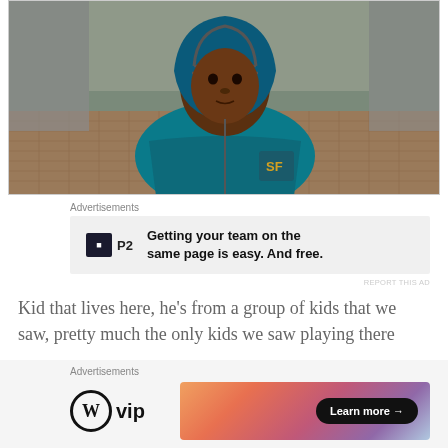[Figure (photo): Young boy wearing a teal/blue hoodie jacket with 'SF' logo, standing in an alleyway with tiled flooring, looking directly at the camera.]
Advertisements
[Figure (other): Advertisement for P2: 'Getting your team on the same page is easy. And free.']
REPORT THIS AD
Kid that lives here, he’s from a group of kids that we saw, pretty much the only kids we saw playing there
Advertisements
[Figure (other): Advertisement for WordPress VIP with 'Learn more →' button on a gradient background.]